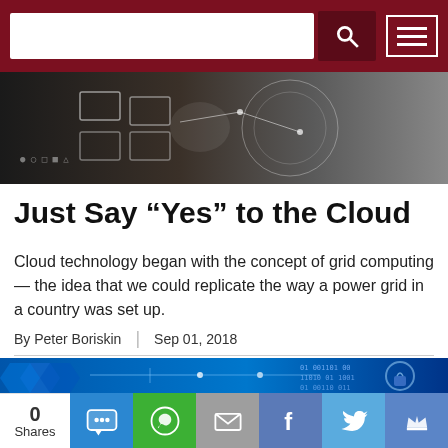Website header with search bar and menu
[Figure (photo): Dark photo of person touching a digital interface with glowing rectangles and network connections]
Just Say “Yes” to the Cloud
Cloud technology began with the concept of grid computing— the idea that we could replicate the way a power grid in a country was set up.
By Peter Boriskin | Sep 01, 2018
[Figure (photo): Blue digital circuit board and binary code technology illustration]
0 Shares